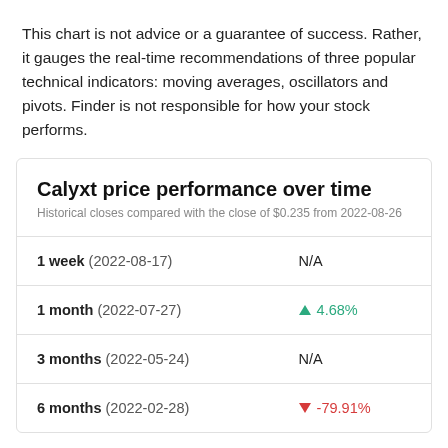This chart is not advice or a guarantee of success. Rather, it gauges the real-time recommendations of three popular technical indicators: moving averages, oscillators and pivots. Finder is not responsible for how your stock performs.
Calyxt price performance over time
Historical closes compared with the close of $0.235 from 2022-08-26
| Period | Value |
| --- | --- |
| 1 week (2022-08-17) | N/A |
| 1 month (2022-07-27) | ↑ 4.68% |
| 3 months (2022-05-24) | N/A |
| 6 months (2022-02-28) | ↓ -79.91% |